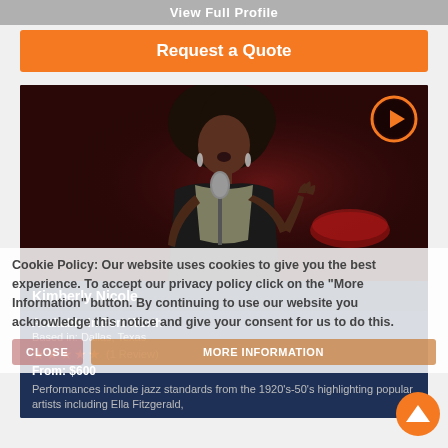View Full Profile
Request a Quote
[Figure (photo): Kimberly Nicole, a female jazz singer performing on stage with a microphone, dark background with red lighting. A play button icon overlaid in the top right corner.]
Kimberly Nicole
Available in Fort Worth
Based in: Dallas, Texas
★★★★½ (1 Review)
From: $600
Performances include jazz standards from the 1920's-50's highlighting popular artists including Ella Fitzgerald,
Cookie Policy: Our website uses cookies to give you the best experience. To accept our privacy policy click on the "More Information" button. By continuing to use our website you acknowledge this notice and give your consent for us to do this.
CLOSE
MORE INFORMATION